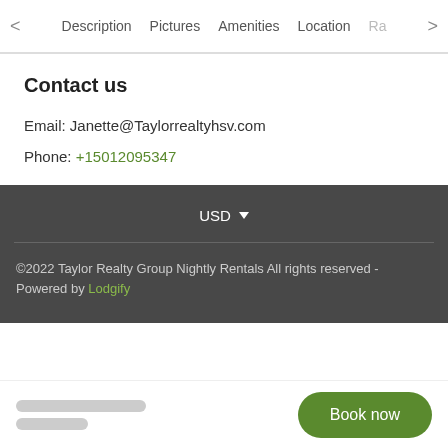< Description  Pictures  Amenities  Location  Ra >
Contact us
Email: Janette@Taylorrealtyhsv.com
Phone: +15012095347
USD ▼
©2022 Taylor Realty Group Nightly Rentals All rights reserved - Powered by Lodgify
Book now